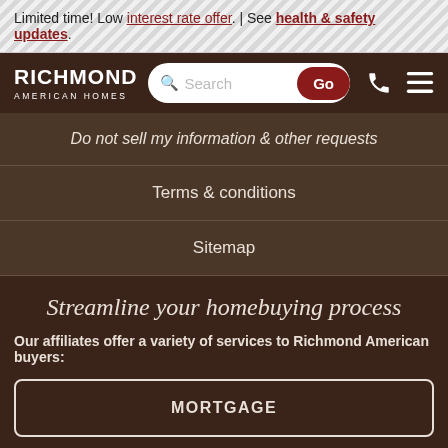Limited time! Low interest rate offer. | See health & safety updates.
[Figure (logo): Richmond American Homes logo with search bar and navigation icons]
Do not sell my information & other requests
Terms & conditions
Sitemap
Streamline your homebuying process
Our affiliates offer a variety of services to Richmond American buyers:
MORTGAGE
INSURANCE